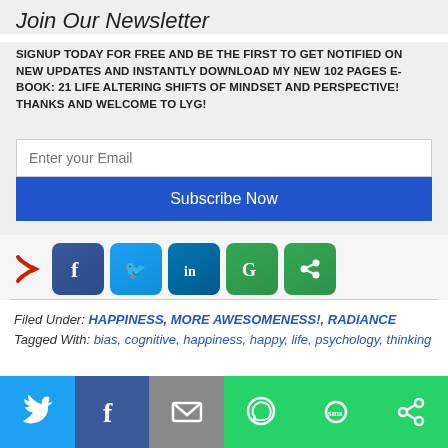Join Our Newsletter
SIGNUP TODAY FOR FREE AND BE THE FIRST TO GET NOTIFIED ON NEW UPDATES AND INSTANTLY DOWNLOAD MY NEW 102 PAGES E-BOOK: 21 LIFE ALTERING SHIFTS OF MINDSET AND PERSPECTIVE! THANKS AND WELCOME TO LYG!
[Figure (screenshot): Email input field with placeholder 'Enter your Email' and a blue Subscribe Now button below it]
[Figure (infographic): Social share row with red arrow pointing to Facebook, Twitter, LinkedIn, Google+, and share icons]
Filed Under: HAPPINESS, MORE AWESOMENESS!, RADIANCE Tagged With: bias, cognitive, happiness, happy, life, psychology, thinking
[Figure (infographic): Bottom sharing bar with Twitter, Facebook, Email, WhatsApp, SMS, and share buttons]